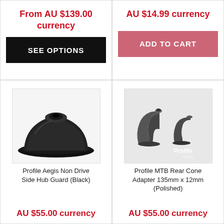From AU $139.00 currency
SEE OPTIONS
AU $14.99 currency
ADD TO CART
[Figure (photo): Black cone-shaped hub guard part, viewed from slightly above, showing a flat disc-like body with a central hole]
Profile Aegis Non Drive Side Hub Guard (Black)
AU $55.00 currency
[Figure (photo): Two grey/dark Profile MTB rear cone adapter parts side by side, with Profile Racing logo visible]
Profile MTB Rear Cone Adapter 135mm x 12mm (Polished)
AU $55.00 currency